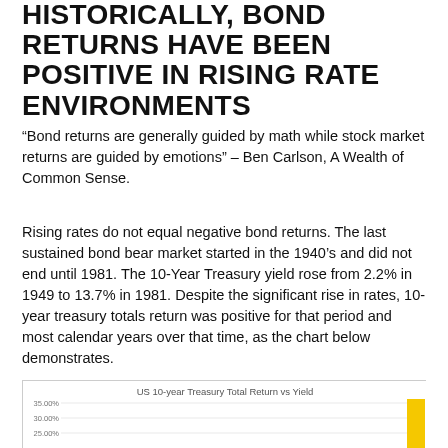HISTORICALLY, BOND RETURNS HAVE BEEN POSITIVE IN RISING RATE ENVIRONMENTS
“Bond returns are generally guided by math while stock market returns are guided by emotions” – Ben Carlson, A Wealth of Common Sense.
Rising rates do not equal negative bond returns. The last sustained bond bear market started in the 1940’s and did not end until 1981. The 10-Year Treasury yield rose from 2.2% in 1949 to 13.7% in 1981. Despite the significant rise in rates, 10-year treasury totals return was positive for that period and most calendar years over that time, as the chart below demonstrates.
[Figure (bar-chart): Partial bar chart showing US 10-year Treasury Total Return vs Yield, with y-axis labels at 35.00%, 30.00%, 25.00%. A tall yellow bar is visible at the right edge. Chart is cut off at bottom of page.]